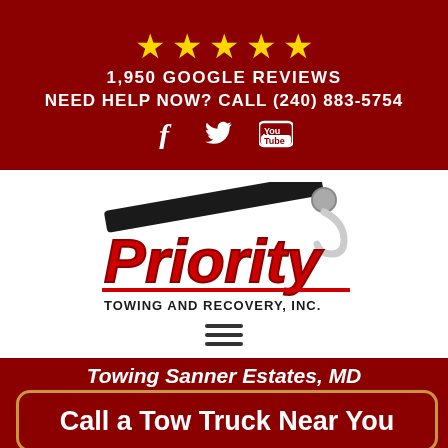[Figure (infographic): Five gold stars rating display on dark red background]
1,950 GOOGLE REVIEWS
NEED HELP NOW? CALL (240) 883-5754
[Figure (infographic): Social media icons: Facebook, Twitter, YouTube on dark red background]
[Figure (logo): Priority Towing and Recovery, Inc. logo with tow hook graphic and red italic text on white background]
[Figure (infographic): Hamburger menu icon (three horizontal lines)]
Towing Sanner Estates, MD
Call a Tow Truck Near You